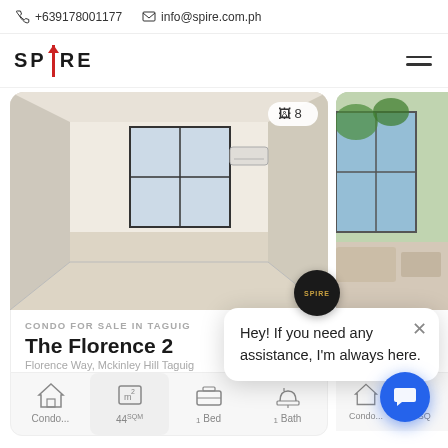+639178001177  info@spire.com.ph
[Figure (logo): SPIRE real estate logo with red vertical bar between SP and RE]
Similar Properties in this Area
[Figure (photo): Interior photo of an empty condo unit hallway with white walls, reflective floor tiles, large window at the end, air conditioning unit on wall, image count badge showing 8]
CONDO FOR SALE IN TAGUIG
The Florence 2
Florence Way, Mckinley Hill Taguig
Price: 12,000,000.00
Condo... | 44 SQM | 1 Bed | 1 Bath
[Figure (photo): Partial view of another condo property card showing a room with large windows and greenery outside]
Price: 17,513
Condo... | 69 SQ
Hey! If you need any assistance, I'm always here.